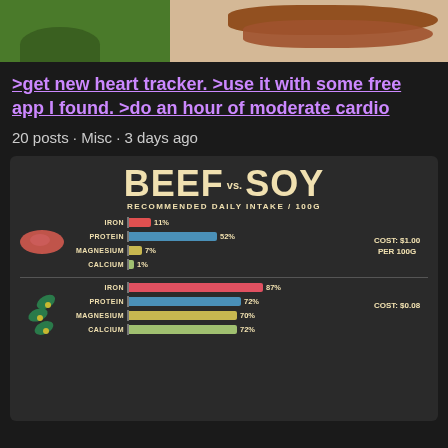[Figure (illustration): Partial top image showing sausages/hot dogs on a green background]
>get new heart tracker. >use it with some free app I found. >do an hour of moderate cardio
20 posts · Misc · 3 days ago
[Figure (infographic): Infographic comparing beef vs soy nutritional content. Beef section: IRON 11%, PROTEIN 52%, MAGNESIUM 7%, CALCIUM 1%, COST: $1.00 PER 100G. Soy section: IRON 87%, PROTEIN 72%, MAGNESIUM 70%, CALCIUM 72%, COST: $0.08 PER 100G]